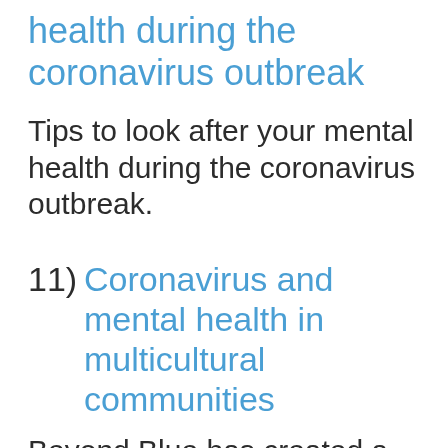health during the coronavirus outbreak
Tips to look after your mental health during the coronavirus outbreak.
11) Coronavirus and mental health in multicultural communities
Beyond Blue has created a series of resources in a range of languages to help people in Australia understand how to find